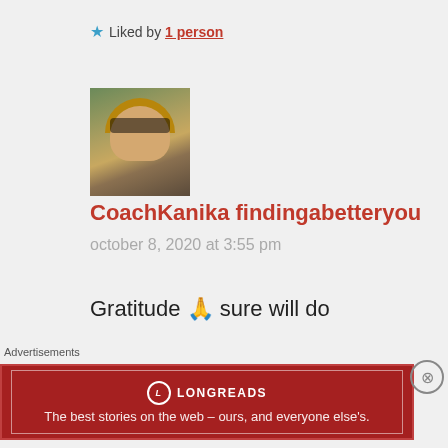★ Liked by 1 person
[Figure (photo): Avatar/profile photo of a woman with sunglasses and blonde hair outdoors with green trees]
CoachKanika findingabetteryou
october 8, 2020 at 3:55 pm
Gratitude 🙏 sure will do
★ Liked by 2 people
Advertisements
[Figure (screenshot): Longreads advertisement banner - red background with white text: The best stories on the web – ours, and everyone else's.]